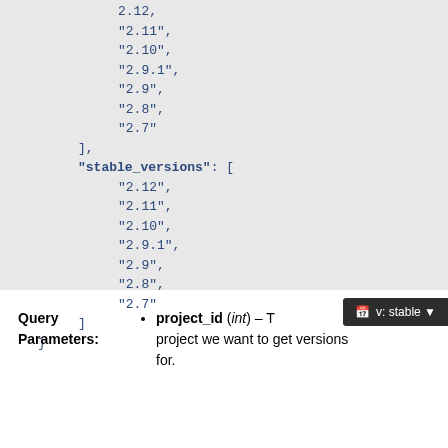2.12, "2.11", "2.10", "2.9.1", "2.9", "2.8", "2.7" ], "stable_versions": [ "2.12", "2.11", "2.10", "2.9.1", "2.9", "2.8", "2.7" ] }
Query Parameters: project_id (int) – The project we want to get versions for.